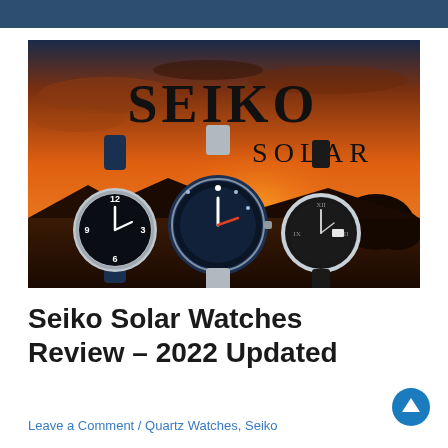[Figure (photo): Seiko Solar brand marketing image showing three Seiko Solar watches (field watch with blue NATO strap, diver watch with blue bezel, and dress watch with black leather strap) against a dramatic orange sunset/sundown background sky with the large text SEIKO SOLAR]
Seiko Solar Watches Review – 2022 Updated
Leave a Comment / Quartz Watches, Seiko